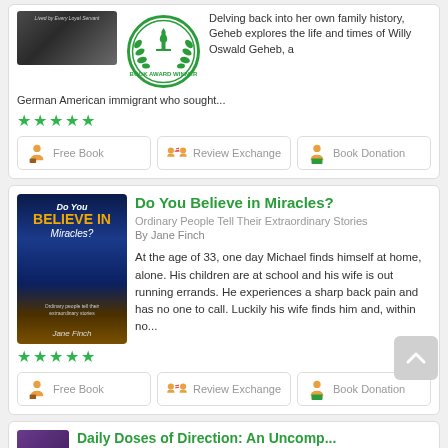[Figure (illustration): Book cover (partial, dark), award badge (green Book Award Winner seal), star rating (5 green stars)]
Delving back into her own family history, Geheb explores the life and times of Willy Oswald Geheb, a German American immigrant who sought...
Free Book | Review Exchange | Book Donation
[Figure (illustration): Book cover for 'Do You Believe in Miracles?' by Jane Finch — dark blue night sky background with crowd, orange bold title text]
Do You Believe in Miracles?
Ordinary People Tell Their Extraordinary Stories
By Jane Finch
At the age of 33, one day Michael finds himself at home, alone. His children are at school and his wife is out running errands. He experiences a sharp back pain and has no one to call. Luckily his wife finds him and, within no...
[Figure (illustration): 5 green star rating]
Free Book | Review Exchange | Book Donation
[Figure (illustration): Partial book cover (purple/violet) at bottom of page]